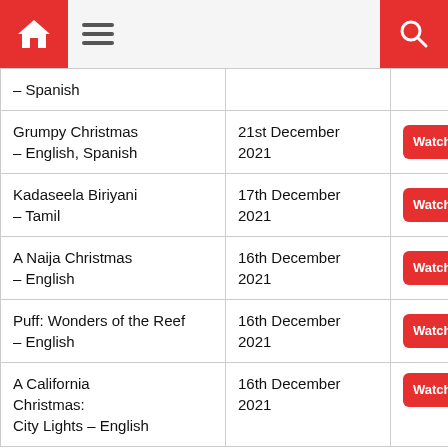Home menu search
| Movie | Date | Link |
| --- | --- | --- |
| – Spanish |  |  |
| Grumpy Christmas – English, Spanish | 21st December 2021 | Watch on Netflix |
| Kadaseela Biriyani – Tamil | 17th December 2021 | Watch on Netflix |
| A Naija Christmas – English | 16th December 2021 | Watch on Netflix |
| Puff: Wonders of the Reef – English | 16th December 2021 | Watch on Netflix |
| A California Christmas: City Lights – English | 16th December 2021 | Watch on Netflix |